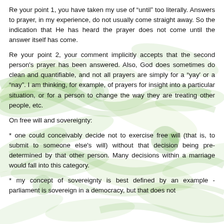Re your point 1, you have taken my use of "until" too literally. Answers to prayer, in my experience, do not usually come straight away. So the indication that He has heard the prayer does not come until the answer itself has come.
Re your point 2, your comment implicitly accepts that the second person's prayer has been answered. Also, God does sometimes do clean and quantifiable, and not all prayers are simply for a "yay' or a "nay". I am thinking, for example, of prayers for insight into a particular situation, or for a person to change the way they are treating other people, etc.
On free will and sovereignty:
* one could conceivably decide not to exercise free will (that is, to submit to someone else's will) without that decision being pre-determined by that other person. Many decisions within a marriage would fall into this category.
* my concept of sovereignty is best defined by an example - parliament is sovereign in a democracy, but that does not